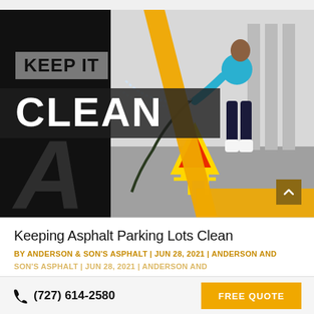[Figure (photo): Promotional banner for Anderson & Son's Asphalt showing a worker in a blue polo shirt pressure washing a parking lot surface. The left side has a black background with 'KEEP IT CLEAN' text in bold white letters, a large watermark letter A, yellow diagonal stripes, and a grey box. Right side shows the worker photo with a yellow caution wet floor sign.]
Keeping Asphalt Parking Lots Clean
BY ANDERSON & SON'S ASPHALT | JUN 28, 2021 | ANDERSON AND
(727) 614-2580   FREE QUOTE